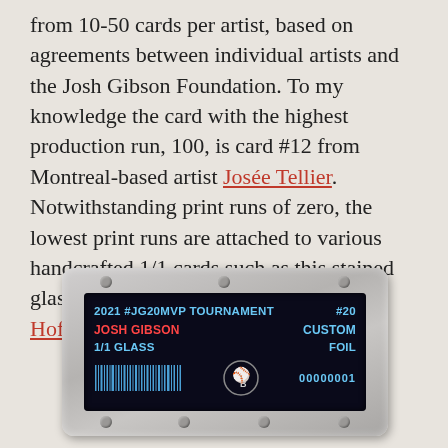from 10-50 cards per artist, based on agreements between individual artists and the Josh Gibson Foundation. To my knowledge the card with the highest production run, 100, is card #12 from Montreal-based artist Josée Tellier. Notwithstanding print runs of zero, the lowest print runs are attached to various handcrafted 1/1 cards such as this stained glass piece from Indiana artist Joel Hofmann.
[Figure (photo): A graded card in a plastic holder showing a trading card label: '2021 #JG20MVP TOURNAMENT #20 / JOSH GIBSON CUSTOM / 1/1 GLASS FOIL / [barcode] [NL logo] 00000001']